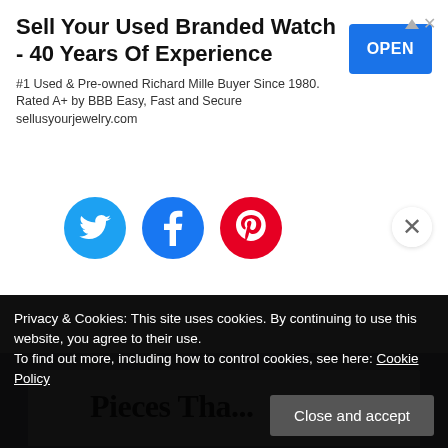[Figure (screenshot): Advertisement banner: 'Sell Your Used Branded Watch - 40 Years Of Experience' with OPEN button, #1 Used & Pre-owned Richard Mille Buyer Since 1980. Rated A+ by BBB Easy, Fast and Secure sellusyourjewelry.com]
[Figure (screenshot): Social share buttons: Twitter (cyan), Facebook (blue), Pinterest (red) circles, with X close button]
Privacy & Cookies: This site uses cookies. By continuing to use this website, you agree to their use.
To find out more, including how to control cookies, see here: Cookie Policy
Close and accept